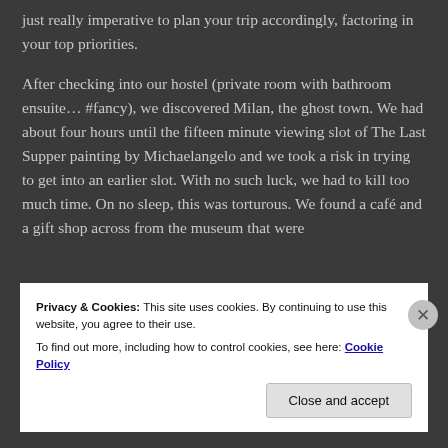just really imperative to plan your trip accordingly, factoring in your top priorities.
After checking into our hostel (private room with bathroom ensuite… #fancy), we discovered Milan, the ghost town. We had about four hours until the fifteen minute viewing slot of The Last Supper painting by Michaelangelo and we took a risk in trying to get into an earlier slot. With no such luck, we had to kill too much time. On no sleep, this was torturous. We found a café and a gift shop across from the museum that were
Privacy & Cookies: This site uses cookies. By continuing to use this website, you agree to their use.
To find out more, including how to control cookies, see here: Cookie Policy